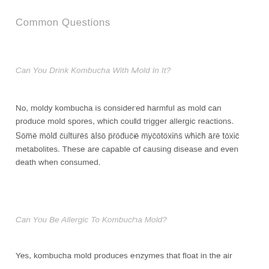Common Questions
Can You Drink Kombucha With Mold In It?
No, moldy kombucha is considered harmful as mold can produce mold spores, which could trigger allergic reactions. Some mold cultures also produce mycotoxins which are toxic metabolites. These are capable of causing disease and even death when consumed.
Can You Be Allergic To Kombucha Mold?
Yes, kombucha mold produces enzymes that float in the air